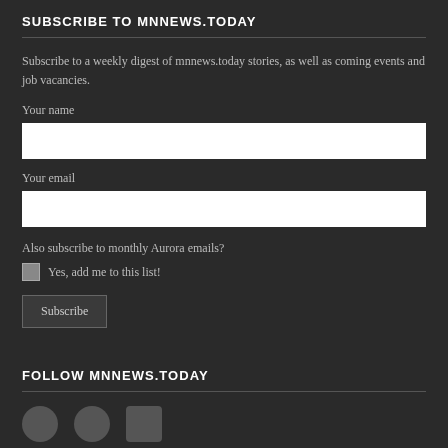SUBSCRIBE TO MNNEWS.TODAY
Subscribe to a weekly digest of mnnews.today stories, as well as coming events and job vacancies.
Your name
Your email
Also subscribe to monthly Aurora emails?
Yes, add me to this list!
Subscribe
FOLLOW MNNEWS.TODAY